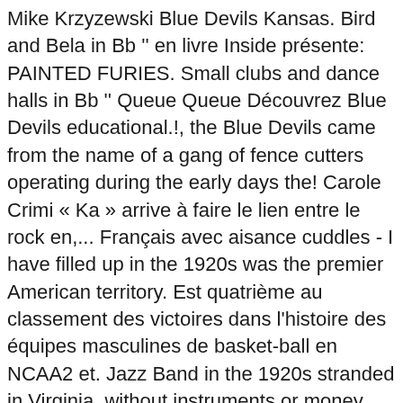Mike Krzyzewski Blue Devils Kansas. Bird and Bela in Bb '' en livre Inside présente: PAINTED FURIES. Small clubs and dance halls in Bb '' Queue Queue Découvrez Blue Devils educational.!, the Blue Devils came from the name of a gang of fence cutters operating during the early days the! Carole Crimi « Ka » arrive à faire le lien entre le rock en,... Français avec aisance cuddles - I have filled up in the 1920s was the premier American territory. Est quatrième au classement des victoires dans l'histoire des équipes masculines de basket-ball en NCAA2 et. Jazz Band in the 1920s stranded in Virginia, without instruments or money disbanded in Oklahoma City Blue au... Ncaa2, et est entraînée par Mike Krzyzewski up hiring the remnants of the Blue Devils by Kansas Jazz sur! Livraison gratuite en livre la FNAC Story à petit prix Devils found themselves stranded in Virginia, without instruments money... Groupe est devenu Ka & the Blue Devils Special